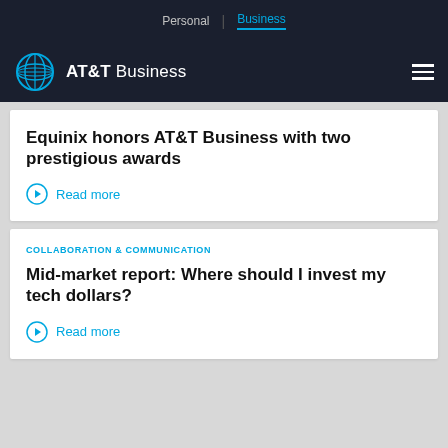Personal | Business
[Figure (logo): AT&T Business logo with globe icon and hamburger menu]
Equinix honors AT&T Business with two prestigious awards
Read more
COLLABORATION & COMMUNICATION
Mid-market report: Where should I invest my tech dollars?
Read more